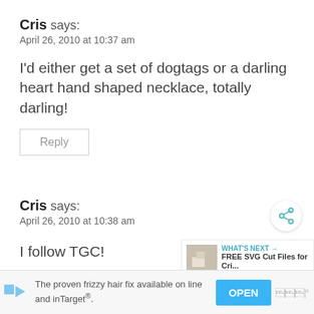Cris says:
April 26, 2010 at 10:37 am
I'd either get a set of dogtags or a darling heart hand shaped necklace, totally darling!
Reply
Cris says:
April 26, 2010 at 10:38 am
I follow TGC!
[Figure (screenshot): Share button icon (circular button with share symbol)]
[Figure (screenshot): WHAT'S NEXT panel showing FREE SVG Cut Files for Cri...]
[Figure (screenshot): Advertisement bar: The proven frizzy hair fix available on line and inTarget. OPEN button.]